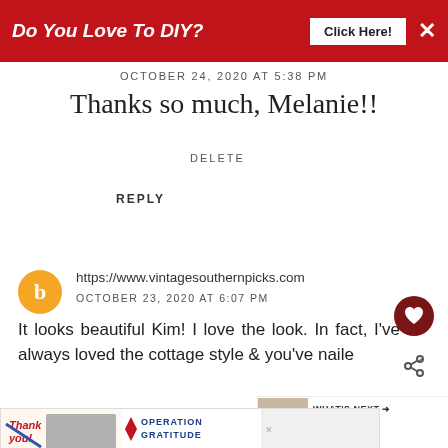[Figure (screenshot): Red advertisement banner: 'Do You Love To DIY?' with 'Click Here!' button and X close button]
OCTOBER 24, 2020 AT 5:38 PM
Thanks so much, Melanie!!
DELETE
REPLY
https://www.vintagesouthernpicks.com
OCTOBER 23, 2020 AT 6:07 PM
It looks beautiful Kim! I love the look. In fact, I've always loved the cottage style & you've naile
REPLY DELETE
[Figure (screenshot): WHAT'S NEXT arrow - Lightening Up The Living... with thumbnail image]
[Figure (screenshot): Operation Gratitude advertisement banner with 'Thank you!' text and military imagery]